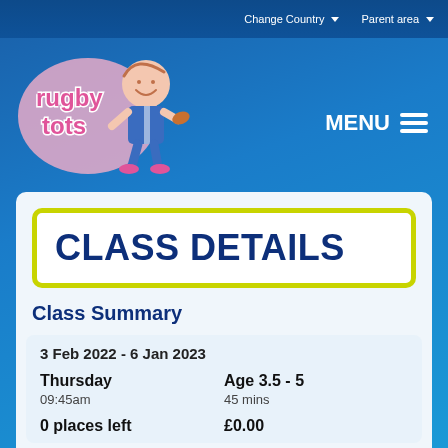Change Country ▼   Parent area ▼
[Figure (logo): Rugby Tots logo — cartoon baby in rugby kit with 'rugby tots' text in pink bubble letters]
MENU ≡
CLASS DETAILS
Class Summary
| 3 Feb 2022 - 6 Jan 2023 |  |
| Thursday | Age 3.5 - 5 |
| 09:45am | 45 mins |
| 0 places left | £0.00 |